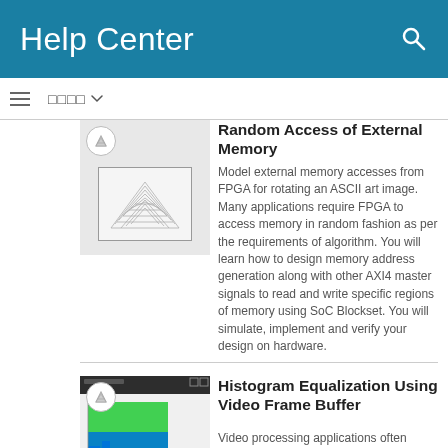Help Center
Random Access of External Memory
[Figure (screenshot): Thumbnail showing ASCII art image preview with triangular mountain shapes rendered in text characters]
Model external memory accesses from FPGA for rotating an ASCII art image. Many applications require FPGA to access memory in random fashion as per the requirements of algorithm. You will learn how to design memory address generation along with other AXI4 master signals to read and write specific regions of memory using SoC Blockset. You will simulate, implement and verify your design on hardware.
Histogram Equalization Using Video Frame Buffer
[Figure (screenshot): Thumbnail showing histogram equalization tool with green and blue bars representing video frame buffer data]
Video processing applications often